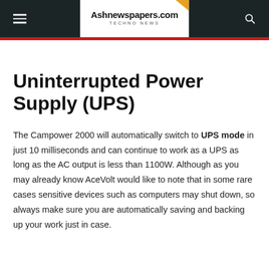Ashnewspapers.com — TECHNO NEWS
Uninterrupted Power Supply (UPS)
The Campower 2000 will automatically switch to UPS mode in just 10 milliseconds and can continue to work as a UPS as long as the AC output is less than 1100W. Although as you may already know AceVolt would like to note that in some rare cases sensitive devices such as computers may shut down, so always make sure you are automatically saving and backing up your work just in case.